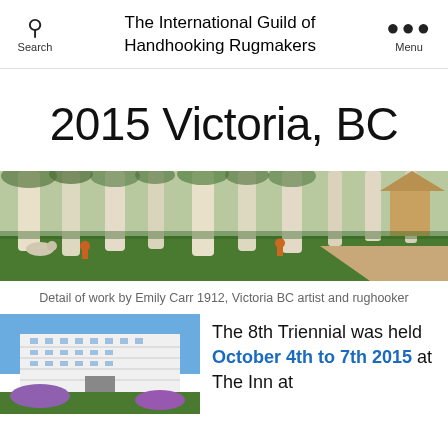The International Guild of Handhooking Rugmakers
2015 Victoria, BC
[Figure (illustration): Painting detail — tall pale tree trunks in a forest with figures and animals in a green landscape. Detail of work by Emily Carr 1912.]
Detail of work by Emily Carr 1912, Victoria BC artist and rughooker
[Figure (photo): Photo of The Inn at Victoria, BC — a white modern multi-storey hotel building with blue sky and purple flowering bushes in the foreground.]
The 8th Triennial was held October 4th to 7th 2015 at The Inn at